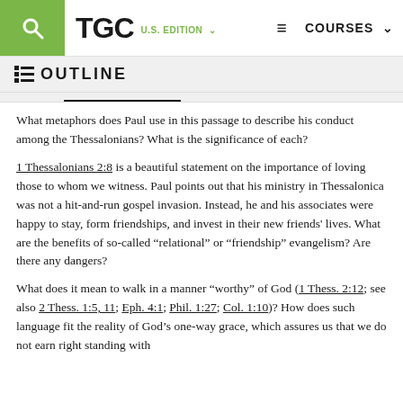TGC U.S. EDITION | COURSES
OUTLINE
What metaphors does Paul use in this passage to describe his conduct among the Thessalonians? What is the significance of each?
1 Thessalonians 2:8 is a beautiful statement on the importance of loving those to whom we witness. Paul points out that his ministry in Thessalonica was not a hit-and-run gospel invasion. Instead, he and his associates were happy to stay, form friendships, and invest in their new friends' lives. What are the benefits of so-called “relational” or “friendship” evangelism? Are there any dangers?
What does it mean to walk in a manner “worthy” of God (1 Thess. 2:12; see also 2 Thess. 1:5, 11; Eph. 4:1; Phil. 1:27; Col. 1:10)? How does such language fit the reality of God’s one-way grace, which assures us that we do not earn right standing with